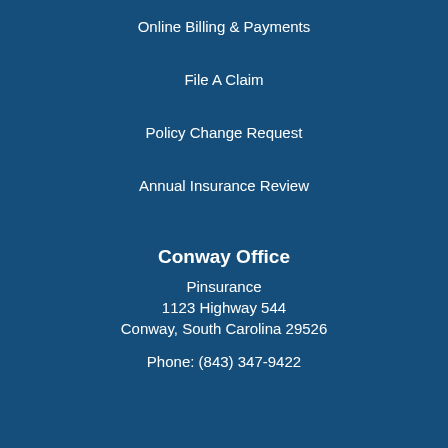Online Billing & Payments
File A Claim
Policy Change Request
Annual Insurance Review
Conway Office
Pinsurance
1123 Highway 544
Conway, South Carolina 29526
Phone: (843) 347-9422